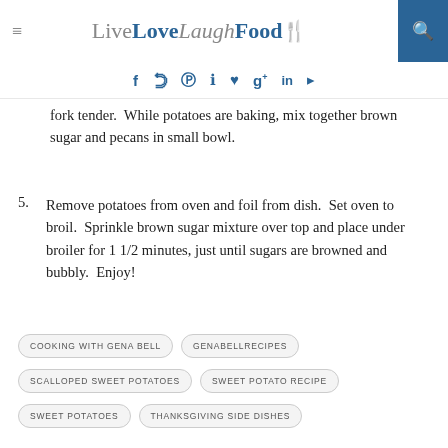Live Love Laugh Food
fork tender.  While potatoes are baking, mix together brown sugar and pecans in small bowl.
5. Remove potatoes from oven and foil from dish.  Set oven to broil.  Sprinkle brown sugar mixture over top and place under broiler for 1 1/2 minutes, just until sugars are browned and bubbly.  Enjoy!
COOKING WITH GENA BELL
GENABELLRECIPES
SCALLOPED SWEET POTATOES
SWEET POTATO RECIPE
SWEET POTATOES
THANKSGIVING SIDE DISHES